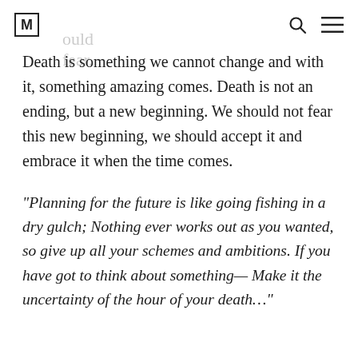[M] should fear.
Death is something we cannot change and with it, something amazing comes. Death is not an ending, but a new beginning. We should not fear this new beginning, we should accept it and embrace it when the time comes.
“Planning for the future is like going fishing in a dry gulch; Nothing ever works out as you wanted, so give up all your schemes and ambitions. If you have got to think about something— Make it the uncertainty of the hour of your death…”